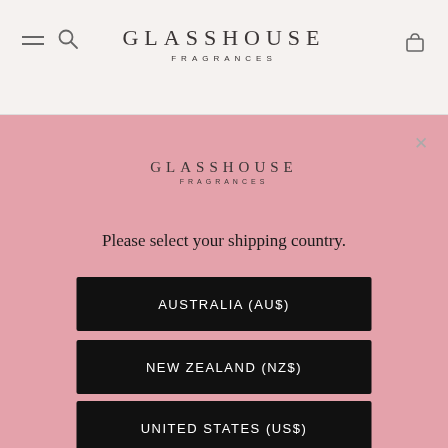GLASSHOUSE FRAGRANCES
[Figure (screenshot): Glasshouse Fragrances website header with hamburger menu, search icon, brand logo, and cart icon on a light beige background]
[Figure (other): Pink overlay modal with Glasshouse Fragrances logo, close button, shipping country selection prompt, and three black buttons for Australia (AU$), New Zealand (NZ$), and United States (US$)]
Please select your shipping country.
AUSTRALIA (AU$)
NEW ZEALAND (NZ$)
UNITED STATES (US$)